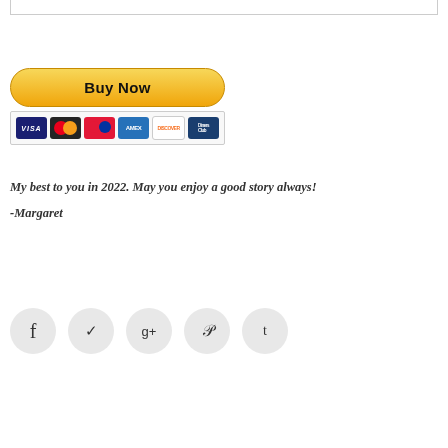[Figure (screenshot): PayPal Buy Now button with credit card icons (Visa, Mastercard, Diners Club, American Express, Discover, and another card)]
My best to you in 2022. May you enjoy a good story always!
-Margaret
[Figure (infographic): Social media share buttons: Facebook (f), Twitter (bird/y), Google+ (g+), Pinterest (p), Tumblr (t)]